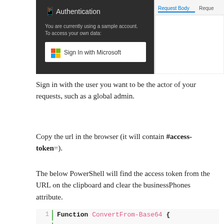[Figure (screenshot): Screenshot showing an Authentication dialog on a dark background with 'Sign In with Microsoft' button, and a Request Body panel on the right side]
Sign in with the user you want to be the actor of your requests, such as a global admin.
Copy the url in the browser (it will contain #access-token=).
The below PowerShell will find the access token from the URL on the clipboard and clear the businessPhones attribute.
[Figure (screenshot): Code block showing PowerShell code: Function ConvertFrom-Base64 { [CmdletBinding()] Param( [Parameter(Mandatory $T...]